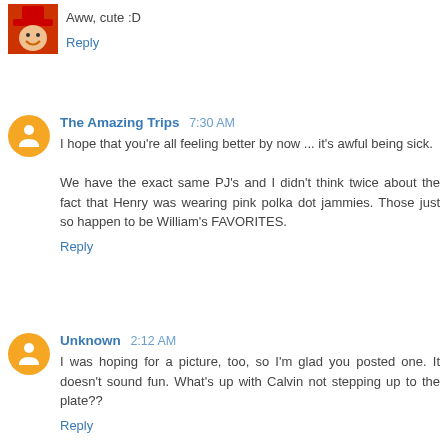Aww, cute :D
Reply
The Amazing Trips 7:30 AM
I hope that you're all feeling better by now ... it's awful being sick.

We have the exact same PJ's and I didn't think twice about the fact that Henry was wearing pink polka dot jammies. Those just so happen to be William's FAVORITES.
Reply
Unknown 2:12 AM
I was hoping for a picture, too, so I'm glad you posted one. It doesn't sound fun. What's up with Calvin not stepping up to the plate??
Reply